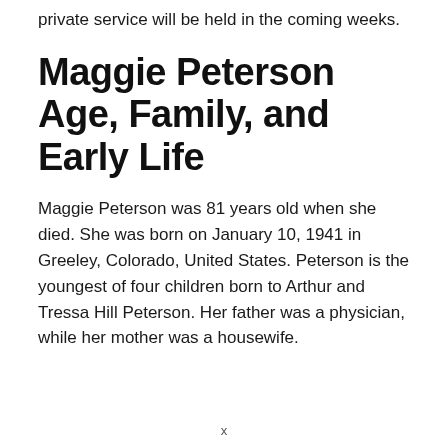private service will be held in the coming weeks.
Maggie Peterson Age, Family, and Early Life
Maggie Peterson was 81 years old when she died. She was born on January 10, 1941 in Greeley, Colorado, United States. Peterson is the youngest of four children born to Arthur and Tressa Hill Peterson. Her father was a physician, while her mother was a housewife.
x